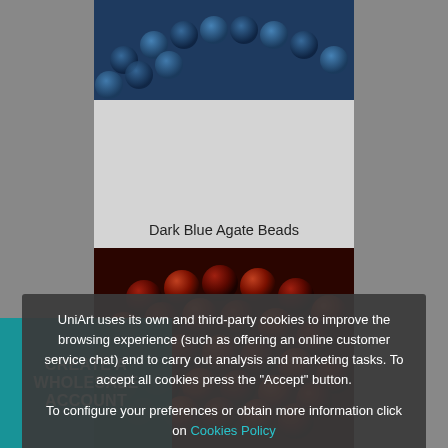[Figure (photo): Dark blue agate beads bracelet/strand shown at top of product card]
Dark Blue Agate Beads
[Figure (photo): Dark red/brown agate beads strand at bottom of product card]
UniArt uses its own and third-party cookies to improve the browsing experience (such as offering an online customer service chat) and to carry out analysis and marketing tasks. To accept all cookies press the "Accept" button.

To configure your preferences or obtain more information click on Cookies Policy
ACCEPT
CREATE A WHOLESALE ACCOUNT